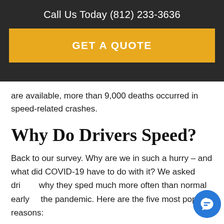Call Us Today (812) 233-3636
GET A QUOTE
are available, more than 9,000 deaths occurred in speed-related crashes.
Why Do Drivers Speed?
Back to our survey. Why are we in such a hurry – and what did COVID-19 have to do with it? We asked drivers why they sped much more often than normal early in the pandemic. Here are the five most popular reasons: